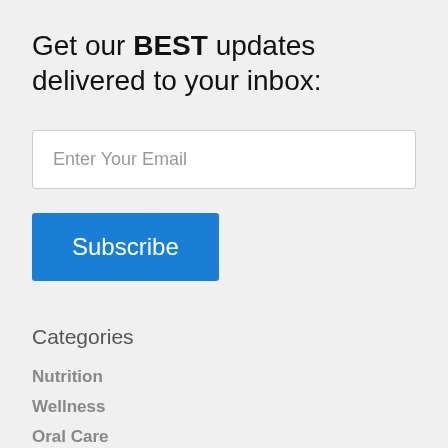Get our BEST updates delivered to your inbox:
[Figure (other): Email input field with placeholder text 'Enter Your Email']
[Figure (other): Blue Subscribe button]
Categories
Nutrition
Wellness
Oral Care
Eye Care
Heart Health
Skin & Beauty